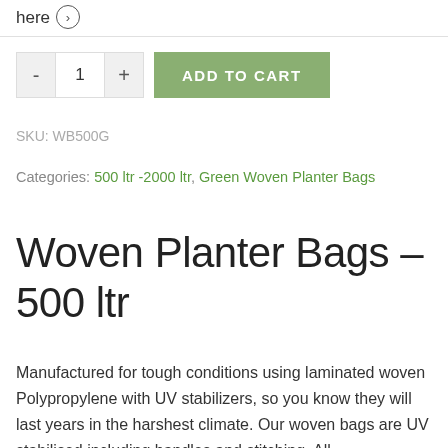here ⊙
- 1 + ADD TO CART
SKU: WB500G
Categories: 500 ltr -2000 ltr, Green Woven Planter Bags
Woven Planter Bags – 500 ltr
Manufactured for tough conditions using laminated woven Polypropylene with UV stabilizers, so you know they will last years in the harshest climate. Our woven bags are UV stabilised including handles and stitching. All